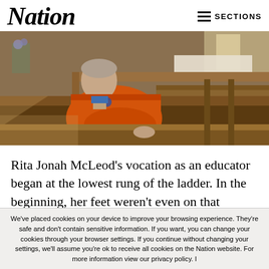Nation | SECTIONS
[Figure (photo): Man in orange fleece jacket sitting in wooden church pews, looking to the side, with church interior visible in background]
Rita Jonah McLeod's vocation as an educator began at the lowest rung of the ladder. In the beginning, her feet weren't even on that proverbial ladder – she was cleaning it.
We've placed cookies on your device to improve your browsing experience. They're safe and don't contain sensitive information. If you want, you can change your cookies through your browser settings. If you continue without changing your settings, we'll assume you're ok to receive all cookies on the Nation website. For more information view our privacy policy. I